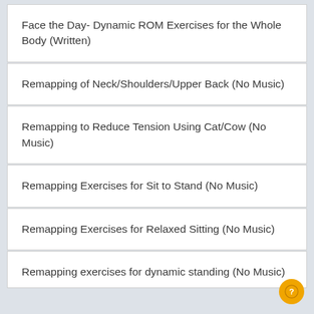Face the Day- Dynamic ROM Exercises for the Whole Body (Written)
Remapping of Neck/Shoulders/Upper Back (No Music)
Remapping to Reduce Tension Using Cat/Cow (No Music)
Remapping Exercises for Sit to Stand (No Music)
Remapping Exercises for Relaxed Sitting (No Music)
Remapping exercises for dynamic standing (No Music)